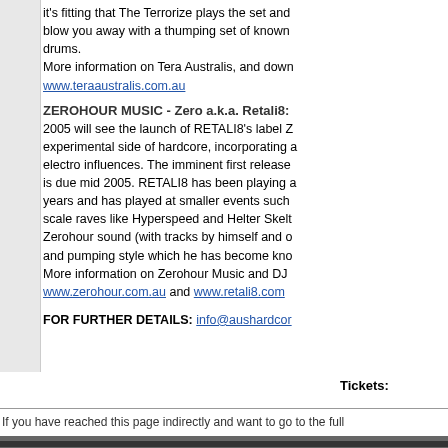...it's fitting that The Terrorize plays the set and blow you away with a thumping set of known drums. More information on Tera Australis, and down www.teraaustralis.com.au
ZEROHOUR MUSIC - Zero a.k.a. Retali8:
2005 will see the launch of RETALI8's label Z experimental side of hardcore, incorporating a electro influences. The imminent first release is due mid 2005. RETALI8 has been playing a years and has played at smaller events such scale raves like Hyperspeed and Helter Skelte Zerohour sound (with tracks by himself and o and pumping style which he has become kno More information on Zerohour Music and DJ www.zerohour.com.au and www.retali8.com
FOR FURTHER DETAILS: info@aushardcor
Tickets:
If you have reached this page indirectly and want to go to the full